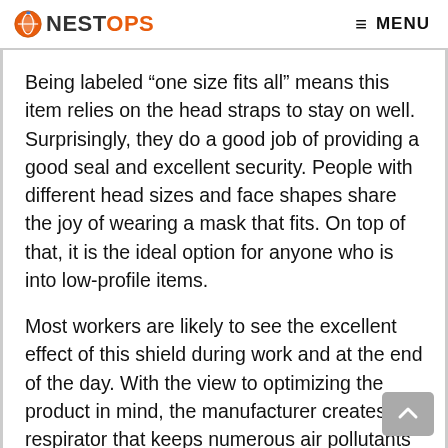NESTOPS  MENU
Being labeled “one size fits all” means this item relies on the head straps to stay on well. Surprisingly, they do a good job of providing a good seal and excellent security. People with different head sizes and face shapes share the joy of wearing a mask that fits. On top of that, it is the ideal option for anyone who is into low-profile items.
Most workers are likely to see the excellent effect of this shield during work and at the end of the day. With the view to optimizing the product in mind, the manufacturer creates a respirator that keeps numerous air pollutants out. This one has the perfect use of applications such as sanding, woodworking, gardening, house cleaning and so on.